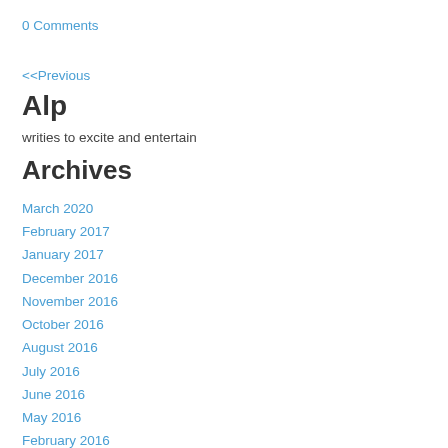0 Comments
<<Previous
Alp
writies to excite and entertain
Archives
March 2020
February 2017
January 2017
December 2016
November 2016
October 2016
August 2016
July 2016
June 2016
May 2016
February 2016
January 2016
December 2015